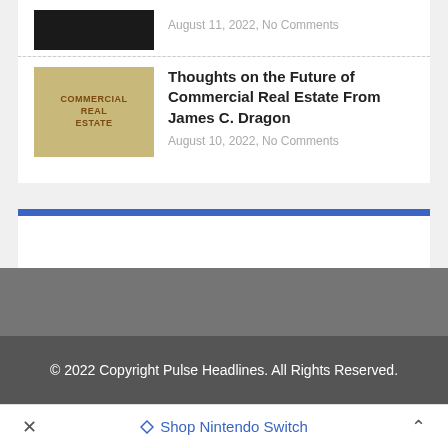[Figure (photo): Dark/black partial thumbnail image at top, partially visible]
August 11, 2022, No Comments
[Figure (photo): Thumbnail image showing wooden letter tiles spelling out COMMERCIAL REAL ESTATE]
Thoughts on the Future of Commercial Real Estate From James C. Dragon
August 10, 2022, No Comments
[Figure (other): Blue horizontal bar widget/panel]
© 2022 Copyright Pulse Headlines. All Rights Reserved.
Shop Nintendo Switch